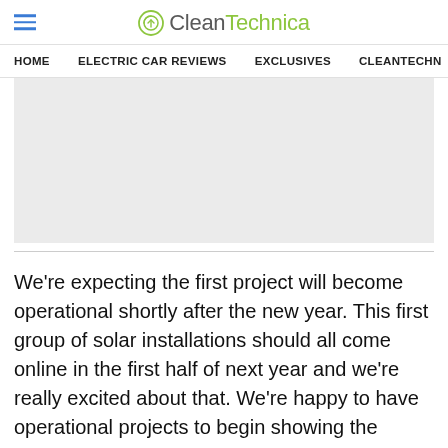CleanTechnica
HOME   ELECTRIC CAR REVIEWS   EXCLUSIVES   CLEANTECHN
[Figure (other): Advertisement placeholder rectangle with light gray background]
We're expecting the first project will become operational shortly after the new year. This first group of solar installations should all come online in the first half of next year and we're really excited about that. We're happy to have operational projects to begin showing the world.